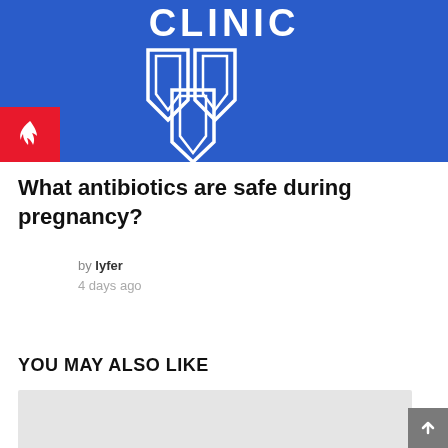[Figure (logo): Cleveland Clinic logo with shield emblem on blue background]
What antibiotics are safe during pregnancy?
by lyfer
4 days ago
YOU MAY ALSO LIKE
[Figure (photo): Related article thumbnail image placeholder]